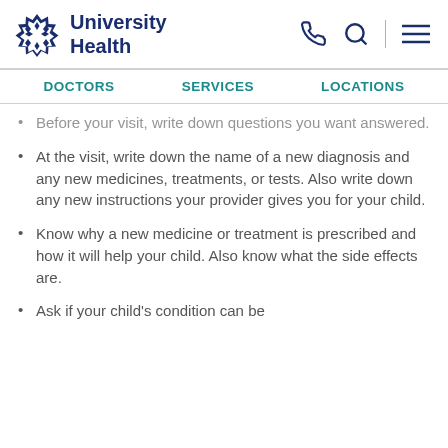University Health
Before your visit, write down questions you want answered.
At the visit, write down the name of a new diagnosis and any new medicines, treatments, or tests. Also write down any new instructions your provider gives you for your child.
Know why a new medicine or treatment is prescribed and how it will help your child. Also know what the side effects are.
Ask if your child's condition can be